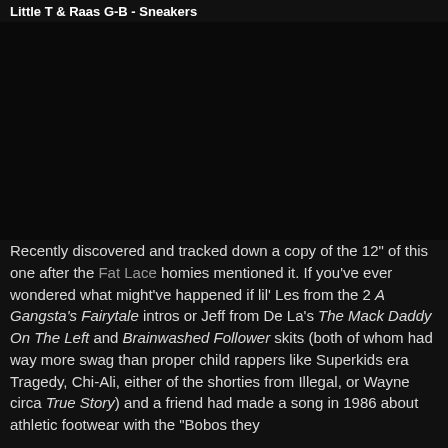Little T & Raas G-B - Sneakers
[Figure (photo): Dark/black image area, content not visible]
Recently discovered and tracked down a copy of the 12" of this one after the Fat Lace homies mentioned it. If you've ever wondered what might've happened if lil' Les from the 2 A Gangsta's Fairytale intros or Jeff from De La's The Mack Daddy On The Left and Brainwashed Follower skits (both of whom had way more swag than proper child rappers like Superkids era Tragedy, Chi-Ali, either of the shorties from Illegal, or Wayne circa True Story) and a friend had made a song in 1986 about athletic footwear with the "Bobos they